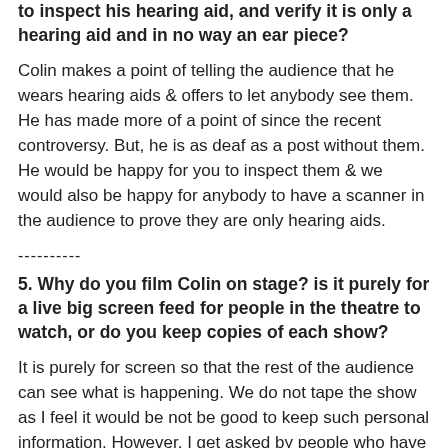to inspect his hearing aid, and verify it is only a hearing aid and in no way an ear piece?
Colin makes a point of telling the audience that he wears hearing aids & offers to let anybody see them. He has made more of a point of since the recent controversy. But, he is as deaf as a post without them. He would be happy for you to inspect them & we would also be happy for anybody to have a scanner in the audience to prove they are only hearing aids.
----------
5. Why do you film Colin on stage? is it purely for a live big screen feed for people in the theatre to watch, or do you keep copies of each show?
It is purely for screen so that the rest of the audience can see what is happening. We do not tape the show as I feel it would be not be good to keep such personal information. However, I get asked by people who have received messages if I have filmed it as they would like a copy. The only time we tape the show is for tv or DVD & the audience